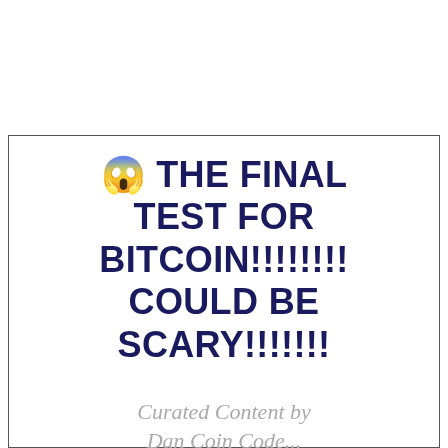😱 THE FINAL TEST FOR BITCOIN!!!!!!!! COULD BE SCARY!!!!!!!
Curated Content by
Dan Coin Code...